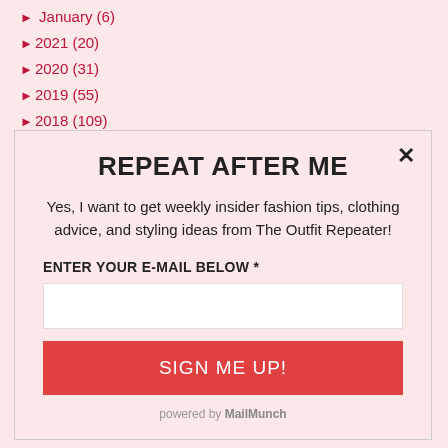► January (6)
►2021 (20)
►2020 (31)
►2019 (55)
►2018 (109)
REPEAT AFTER ME
Yes, I want to get weekly insider fashion tips, clothing advice, and styling ideas from The Outfit Repeater!
ENTER YOUR E-MAIL BELOW *
SIGN ME UP!
powered by MailMunch